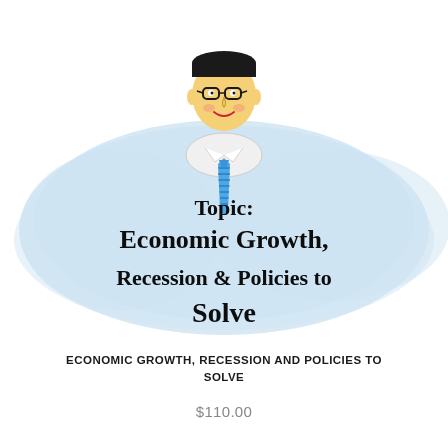[Figure (illustration): Cartoon illustration of a smiling man with glasses, wearing a white shirt and blue striped tie. Behind him is a large light blue brushstroke/blob shape. Text on the blob reads 'Topic: Economic Growth, Recession & Policies to Solve' in bold black serif font.]
ECONOMIC GROWTH, RECESSION AND POLICIES TO SOLVE
$110.00